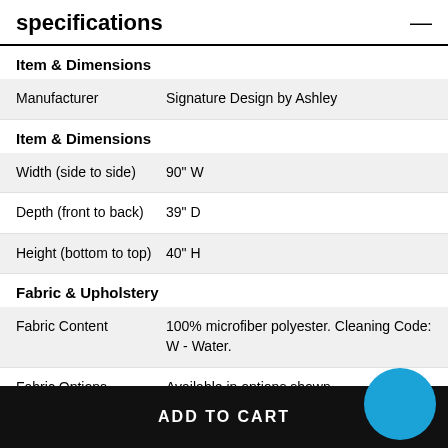specifications
Item & Dimensions
|  |  |
| --- | --- |
| Manufacturer | Signature Design by Ashley |
Item & Dimensions
|  |  |
| --- | --- |
| Width (side to side) | 90" W |
| Depth (front to back) | 39" D |
| Height (bottom to top) | 40" H |
Fabric & Upholstery
|  |  |
| --- | --- |
| Fabric Content | 100% microfiber polyester. Cleaning Code: W - Water. |
| Fabric Options | Available in options shown |
ADD TO CART